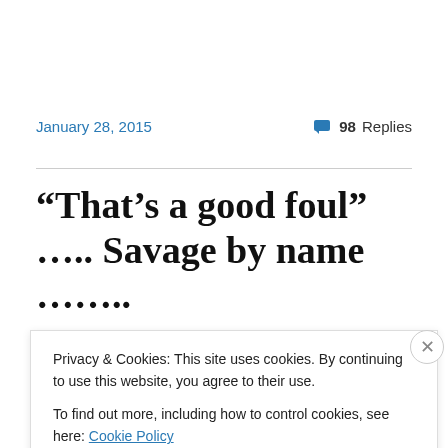January 28, 2015
98 Replies
“That’s a good foul” ….. Savage by name ……..
In its infinite wisdom, BT has chosen to employ the
Privacy & Cookies: This site uses cookies. By continuing to use this website, you agree to their use.
To find out more, including how to control cookies, see here: Cookie Policy
Close and accept